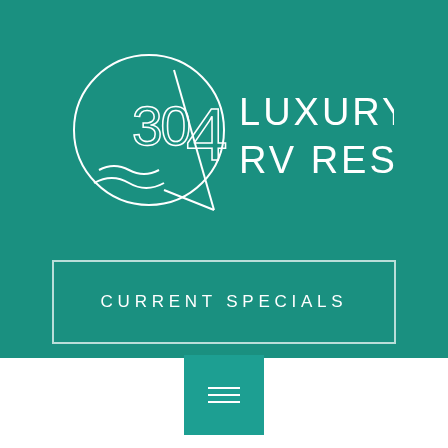[Figure (logo): 304 Luxury RV Resort logo with circular emblem containing '304' and wave/anchor design elements, with text 'LUXURY RV RESORT' to the right, all in white on teal background]
CURRENT SPECIALS
[Figure (other): Hamburger menu icon (three horizontal lines) on a slightly lighter teal square background]